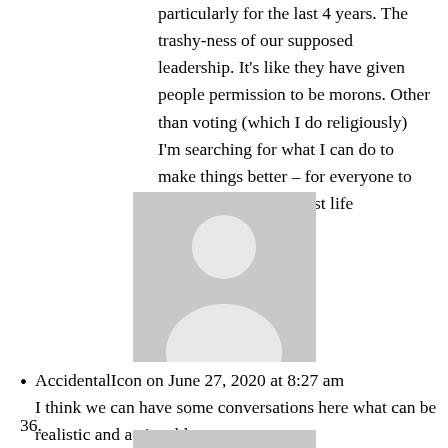particularly for the last 4 years. The trashy-ness of our supposed leadership. It’s like they have given people permission to be morons. Other than voting (which I do religiously) I’m searching for what I can do to make things better – for everyone to be able to live their best life
[Figure (illustration): Gray placeholder avatar icon with person silhouette]
AccidentalIcon on June 27, 2020 at 8:27 am
I think we can have some conversations here what can be realistic and actionable.
36.
[Figure (illustration): Gray placeholder avatar icon with person silhouette]